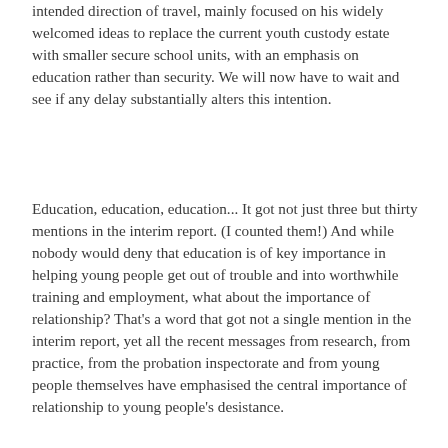intended direction of travel, mainly focused on his widely welcomed ideas to replace the current youth custody estate with smaller secure school units, with an emphasis on education rather than security. We will now have to wait and see if any delay substantially alters this intention.
Education, education, education... It got not just three but thirty mentions in the interim report. (I counted them!) And while nobody would deny that education is of key importance in helping young people get out of trouble and into worthwhile training and employment, what about the importance of relationship? That's a word that got not a single mention in the interim report, yet all the recent messages from research, from practice, from the probation inspectorate and from young people themselves have emphasised the central importance of relationship to young people's desistance.